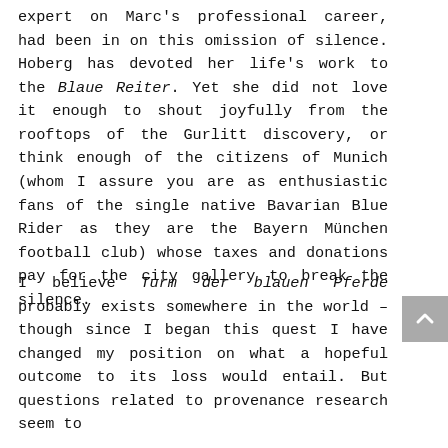expert on Marc's professional career, had been in on this omission of silence. Hoberg has devoted her life's work to the Blaue Reiter. Yet she did not love it enough to shout joyfully from the rooftops of the Gurlitt discovery, or think enough of the citizens of Munich (whom I assure you are as enthusiastic fans of the single native Bavarian Blue Rider as they are the Bayern München football club) whose taxes and donations pay for the city gallery to break the silence.
I believe Turm der blauen Pferde probably exists somewhere in the world – though since I began this quest I have changed my position on what a hopeful outcome to its loss would entail. But questions related to provenance research seem to